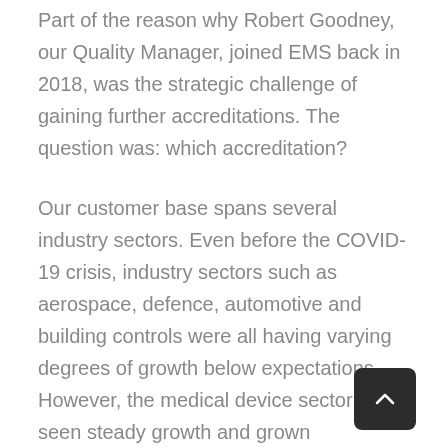Part of the reason why Robert Goodney, our Quality Manager, joined EMS back in 2018, was the strategic challenge of gaining further accreditations. The question was: which accreditation?
Our customer base spans several industry sectors. Even before the COVID-19 crisis, industry sectors such as aerospace, defence, automotive and building controls were all having varying degrees of growth below expectations. However, the medical device sector has seen steady growth and grown significantly for EMS during the pandemic.
As a key supplier of PCB assemblies used in ventilators and other medical devices, we decided to start the process of acquiring an ISO 13485:2016